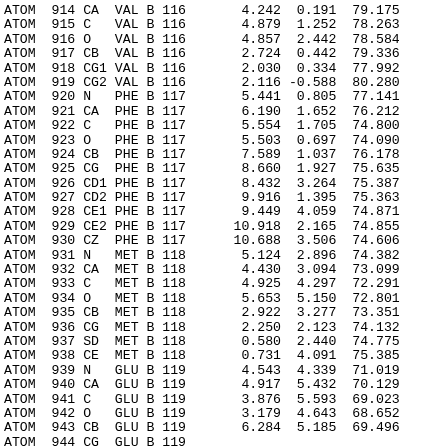| RECORD | NUM | ATOM | RES | CH | SEQ | X | Y | Z |
| --- | --- | --- | --- | --- | --- | --- | --- | --- |
| ATOM | 914 | CA | VAL | B | 116 | 4.242 | 0.191 | 79.175 |
| ATOM | 915 | C | VAL | B | 116 | 4.879 | 1.252 | 78.263 |
| ATOM | 916 | O | VAL | B | 116 | 4.857 | 2.442 | 78.584 |
| ATOM | 917 | CB | VAL | B | 116 | 2.724 | 0.442 | 79.336 |
| ATOM | 918 | CG1 | VAL | B | 116 | 2.030 | 0.334 | 77.992 |
| ATOM | 919 | CG2 | VAL | B | 116 | 2.116 | -0.588 | 80.280 |
| ATOM | 920 | N | PHE | B | 117 | 5.441 | 0.805 | 77.141 |
| ATOM | 921 | CA | PHE | B | 117 | 6.190 | 1.652 | 76.212 |
| ATOM | 922 | C | PHE | B | 117 | 5.554 | 1.705 | 74.800 |
| ATOM | 923 | O | PHE | B | 117 | 5.503 | 0.697 | 74.090 |
| ATOM | 924 | CB | PHE | B | 117 | 7.589 | 1.037 | 76.178 |
| ATOM | 925 | CG | PHE | B | 117 | 8.660 | 1.927 | 75.635 |
| ATOM | 926 | CD1 | PHE | B | 117 | 8.432 | 3.264 | 75.387 |
| ATOM | 927 | CD2 | PHE | B | 117 | 9.916 | 1.395 | 75.363 |
| ATOM | 928 | CE1 | PHE | B | 117 | 9.449 | 4.059 | 74.871 |
| ATOM | 929 | CE2 | PHE | B | 117 | 10.918 | 2.165 | 74.855 |
| ATOM | 930 | CZ | PHE | B | 117 | 10.688 | 3.506 | 74.606 |
| ATOM | 931 | N | MET | B | 118 | 5.124 | 2.896 | 74.382 |
| ATOM | 932 | CA | MET | B | 118 | 4.430 | 3.094 | 73.099 |
| ATOM | 933 | C | MET | B | 118 | 4.925 | 4.297 | 72.291 |
| ATOM | 934 | O | MET | B | 118 | 5.653 | 5.150 | 72.801 |
| ATOM | 935 | CB | MET | B | 118 | 2.922 | 3.277 | 73.351 |
| ATOM | 936 | CG | MET | B | 118 | 2.250 | 2.123 | 74.132 |
| ATOM | 937 | SD | MET | B | 118 | 0.580 | 2.440 | 74.775 |
| ATOM | 938 | CE | MET | B | 118 | 0.731 | 4.091 | 75.385 |
| ATOM | 939 | N | GLU | B | 119 | 4.543 | 4.339 | 71.019 |
| ATOM | 940 | CA | GLU | B | 119 | 4.917 | 5.432 | 70.129 |
| ATOM | 941 | C | GLU | B | 119 | 3.876 | 5.593 | 69.023 |
| ATOM | 942 | O | GLU | B | 119 | 3.179 | 4.643 | 68.652 |
| ATOM | 943 | CB | GLU | B | 119 | 6.284 | 5.185 | 69.496 |
| ATOM | 944 | CG | GLU | B | 119 |  |  |  |